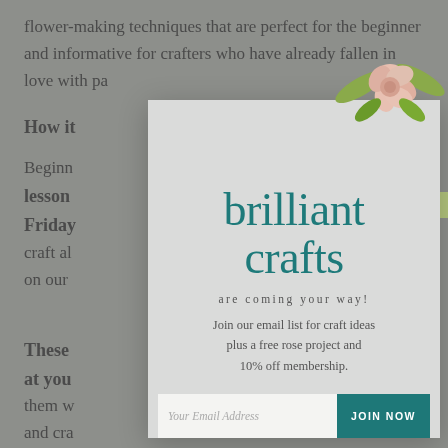flower-making techniques that are perfect for the beginner and informative for crafters who have already fallen in love with pa...
How it...
Beginn... new lesson... and Friday... you can craft al... ur work on our...
These... them at you... ch them w... ass and cra...
[Figure (illustration): Popup/modal overlay with a light grey background, a green ribbon across the top, a pink paper flower decoration, large teal text reading 'brilliant crafts', italic grey text 'are coming your way!', body text about joining an email list, an email input field, and a teal 'JOIN NOW' button.]